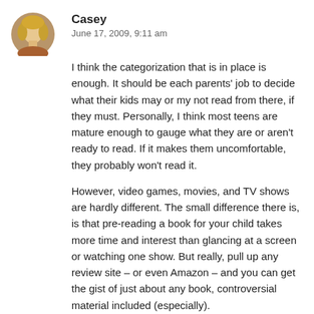[Figure (photo): Circular avatar photo of user Casey, showing a person with blonde hair.]
Casey
June 17, 2009, 9:11 am
I think the categorization that is in place is enough. It should be each parents' job to decide what their kids may or my not read from there, if they must. Personally, I think most teens are mature enough to gauge what they are or aren't ready to read. If it makes them uncomfortable, they probably won't read it.
However, video games, movies, and TV shows are hardly different. The small difference there is, is that pre-reading a book for your child takes more time and interest than glancing at a screen or watching one show. But really, pull up any review site – or even Amazon – and you can get the gist of just about any book, controversial material included (especially).
The YA book I'm writing touches on things I'm certain I'll get flack for should it get published, but I'm writing the book I want to write and I'm writing true to the characters